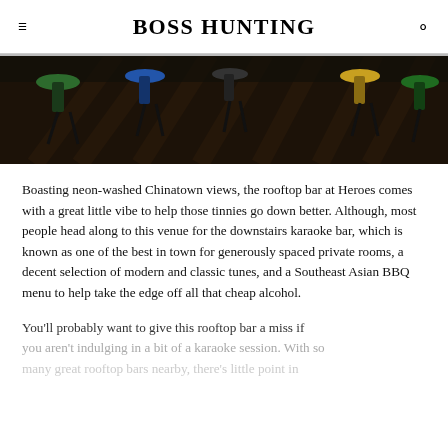BOSS HUNTING
[Figure (photo): Interior of a bar rooftop with colorful bar stools (green, blue, yellow) on a dark wooden plank floor, with more stools visible in the background.]
Boasting neon-washed Chinatown views, the rooftop bar at Heroes comes with a great little vibe to help those tinnies go down better. Although, most people head along to this venue for the downstairs karaoke bar, which is known as one of the best in town for generously spaced private rooms, a decent selection of modern and classic tunes, and a Southeast Asian BBQ menu to help take the edge off all that cheap alcohol.
You'll probably want to give this rooftop bar a miss if you aren't indulging in a bit of a karaoke session. With so many great rooftop bars nearby, there's little point in